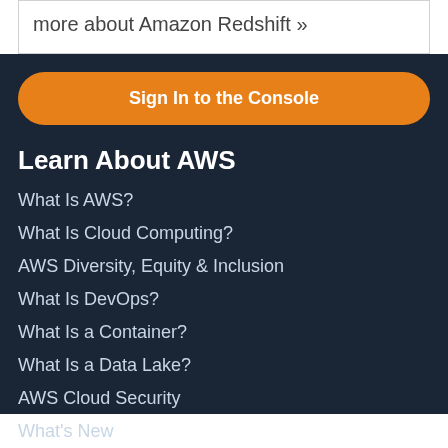more about Amazon Redshift »
Sign In to the Console
Learn About AWS
What Is AWS?
What Is Cloud Computing?
AWS Diversity, Equity & Inclusion
What Is DevOps?
What Is a Container?
What Is a Data Lake?
AWS Cloud Security
What's New
Blogs
Press Releases